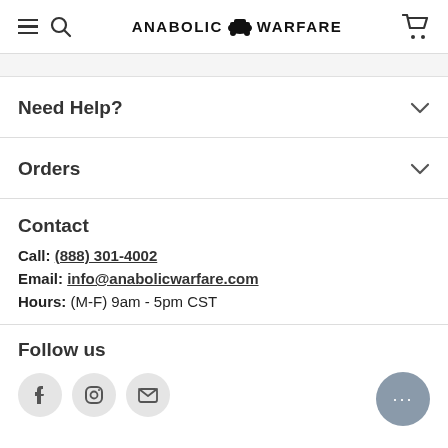Anabolic Warfare
Need Help?
Orders
Contact
Call: (888) 301-4002
Email: info@anabolicwarfare.com
Hours: (M-F) 9am - 5pm CST
Follow us